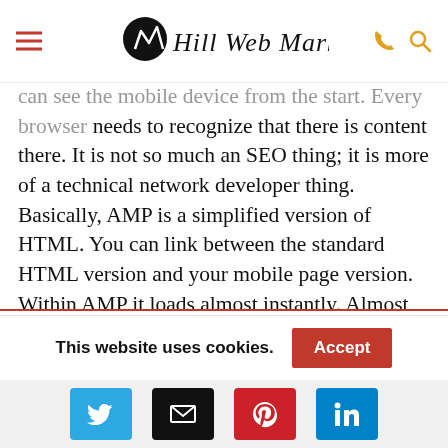Hill Web Marketing
...can see the mobile device from the start. Every browser needs to recognize that there is content there. It is not so much an SEO thing; it is more of a technical network developer thing. Basically, AMP is a simplified version of HTML. You can link between the standard HTML version and your mobile page version. Within AMP it loads almost instantly. Almost within less than a second, you can get there. It is open-source; anyone can work on it to support functionality. It is a chance to rethink what we created for the web to gain more features snippets and show of for local searches from the local maps
This website uses cookies.
[Figure (other): Social sharing icons: Twitter, Email, Pinterest, LinkedIn]